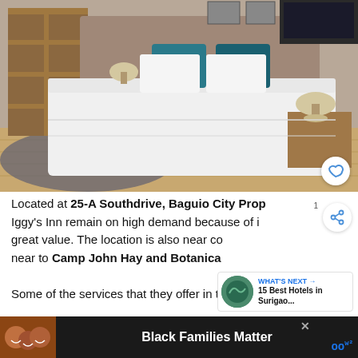[Figure (photo): Hotel room with large white bed, teal/blue decorative pillows, gray upholstered headboard, wooden nightstands, lamps, shelving unit on left wall, hardwood floor]
Located at 25-A Southdrive, Baguio City Prop[erty] Iggy's Inn remain on high demand because of i[ts] great value. The location is also near co[nveniences] near to Camp John Hay and Botanica[l Garden]. Some of the services that they offer in the facility a[re...]
[Figure (screenshot): What's Next overlay showing thumbnail and text: WHAT'S NEXT → 15 Best Hotels in Surigao...]
[Figure (photo): Advertisement banner: Black Families Matter with photo of smiling family]